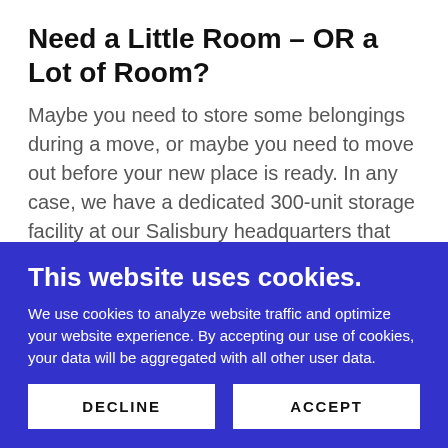Need a Little Room – OR a Lot of Room?
Maybe you need to store some belongings during a move, or maybe you need to move out before your new place is ready. In any case, we have a dedicated 300-unit storage facility at our Salisbury headquarters that offers affordable storage. As a full-service Salisbury removals company, our goal is
This website uses cookies.
We use cookies to analyze website traffic and optimize your website experience. By accepting our use of cookies, your data will be aggregated with all other user data.
DECLINE
ACCEPT